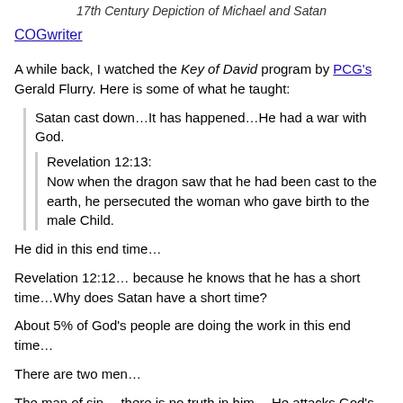17th Century Depiction of Michael and Satan
COGwriter
A while back, I watched the Key of David program by PCG’s Gerald Flurry. Here is some of what he taught:
Satan cast down…It has happened…He had a war with God.
Revelation 12:13:
Now when the dragon saw that he had been cast to the earth, he persecuted the woman who gave birth to the male Child.
He did in this end time…
Revelation 12:12… because he knows that he has a short time…Why does Satan have a short time?
About 5% of God’s people are doing the work in this end time…
There are two men…
The man of sin… there is no truth in him… He attacks God’s church… The son of perdition here is second Thessalonians 2…in all likelihood is possessed by the devil…That is why he shows himself that he is God.
…
There is another man {2 Thessalonians 2:7} the mystery of lawlessness … only He who now restrains will do so until He is taken out of the way…